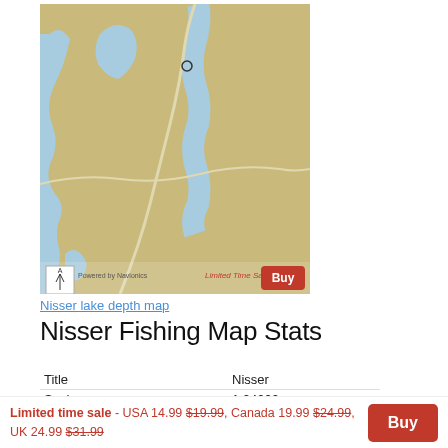[Figure (map): Nisser lake depth map showing water bodies (blue) on a tan/beige terrain background with roads and a location marker. Includes compass rose, scale bar, 'Limited Time Sale' text, and a red 'Buy' button overlay at the bottom.]
Nisser lake depth map
Nisser Fishing Map Stats
| Title | Nisser |
| Scale | 1:24000 |
Limited time sale - USA 14.99 $19.99, Canada 19.99 $24.99, UK 24.99 $31.99